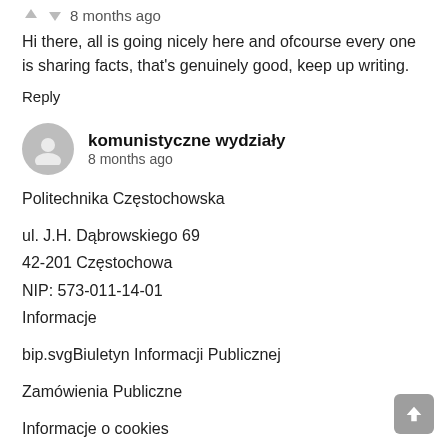8 months ago
Hi there, all is going nicely here and ofcourse every one is sharing facts, that's genuinely good, keep up writing.
Reply
komunistyczne wydziały
8 months ago
Politechnika Częstochowska
ul. J.H. Dąbrowskiego 69
42-201 Częstochowa
NIP: 573-011-14-01
Informacje
bip.svgBiuletyn Informacji Publicznej
Zamówienia Publiczne
Informacje o cookies